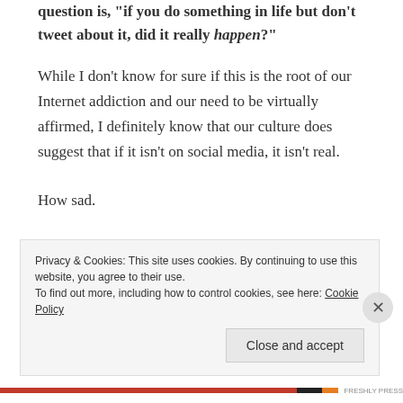question is, "if you do something in life but don't tweet about it, did it really happen?"
While I don't know for sure if this is the root of our Internet addiction and our need to be virtually affirmed, I definitely know that our culture does suggest that if it isn't on social media, it isn't real.
How sad.
That's why when you tell your best friend that you've started seeing someone, she immediately asks why it
Privacy & Cookies: This site uses cookies. By continuing to use this website, you agree to their use.
To find out more, including how to control cookies, see here: Cookie Policy